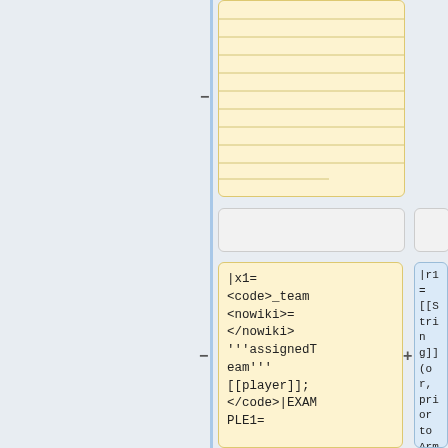[Figure (screenshot): Top portion shows a yellow/beige box with horizontal ruled lines, partially cut at top. A minus sign is on the left edge.]
[Figure (screenshot): Two small grey placeholder boxes in a middle row.]
|x1=
<code>_team
<nowiki>=
</nowiki>
'''assignedTeam'''
[[player]];
</code>|EXAMPLE1=
|r1=
[[String]]
(or, prior
to Arma 3
v1.94,
[[Nothing]]
if given
unit is
[[objNull]]
or
[[remoteCont
rol]]ling